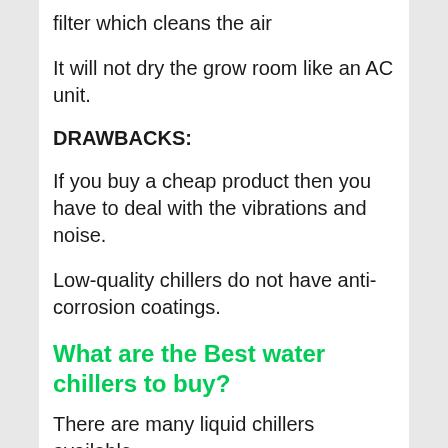filter which cleans the air
It will not dry the grow room like an AC unit.
DRAWBACKS:
If you buy a cheap product then you have to deal with the vibrations and noise.
Low-quality chillers do not have anti-corrosion coatings.
What are the Best water chillers to buy?
There are many liquid chillers available